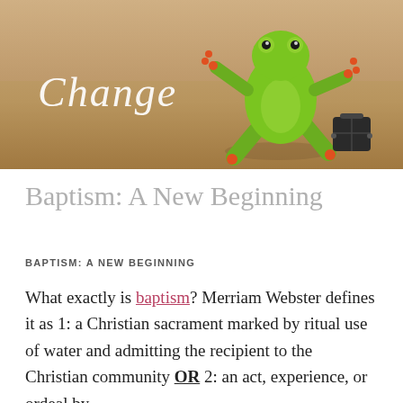[Figure (photo): Photo of a green toy/plastic frog figure carrying a small suitcase, walking on sandy ground. White cursive text 'Change' overlaid on the left side of the image.]
Baptism: A New Beginning
BAPTISM: A NEW BEGINNING
What exactly is baptism? Merriam Webster defines it as 1: a Christian sacrament marked by ritual use of water and admitting the recipient to the Christian community OR 2: an act, experience, or ordeal by which one is purified, sanctified, initiated,